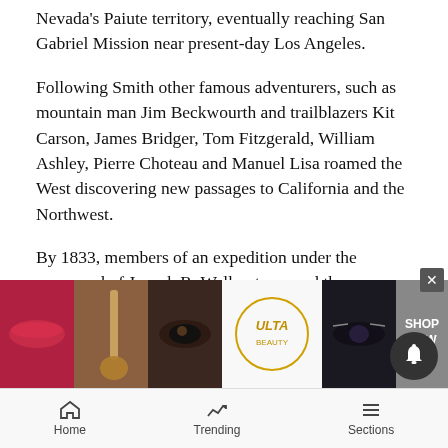Nevada's Paiute territory, eventually reaching San Gabriel Mission near present-day Los Angeles.
Following Smith other famous adventurers, such as mountain man Jim Beckwourth and trailblazers Kit Carson, James Bridger, Tom Fitzgerald, William Ashley, Pierre Choteau and Manuel Lisa roamed the West discovering new passages to California and the Northwest.
By 1833, members of an expedition under the command of Joseph R. Walker traversed the Humboldt Sink to the lake which bears his name while charting a route to California which was passable by wagons.
In 1846 ... as the Mi...
[Figure (screenshot): Advertisement banner showing cosmetics/beauty products (lips, brush, eyes) with ULTA logo and SHOP NOW call to action, with a close (x) button and notification bell overlaid.]